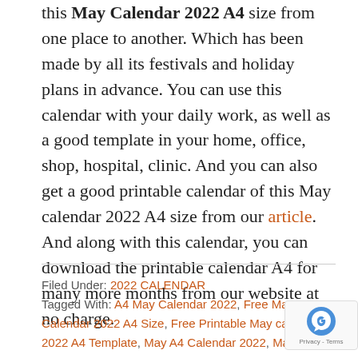this May Calendar 2022 A4 size from one place to another. Which has been made by all its festivals and holiday plans in advance. You can use this calendar with your daily work, as well as a good template in your home, office, shop, hospital, clinic. And you can also get a good printable calendar of this May calendar 2022 A4 size from our article. And along with this calendar, you can download the printable calendar A4 for many more months from our website at no charge.
Filed Under: 2022 CALENDAR
Tagged With: A4 May Calendar 2022, Free May Calendar 2022 A4 Size, Free Printable May calendar 2022 A4 Template, May A4 Calendar 2022, May